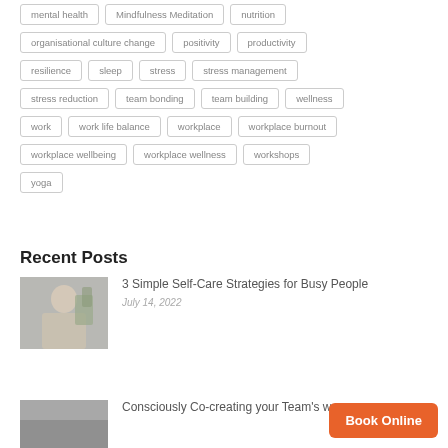mental health
Mindfulness Meditation
nutrition
organisational culture change
positivity
productivity
resilience
sleep
stress
stress management
stress reduction
team bonding
team building
wellness
work
work life balance
workplace
workplace burnout
workplace wellbeing
workplace wellness
workshops
yoga
Recent Posts
3 Simple Self-Care Strategies for Busy People
July 14, 2022
[Figure (photo): Woman sitting at desk, smiling, workplace setting with plants in background]
Consciously Co-creating your Team's way
[Figure (photo): Second post thumbnail image]